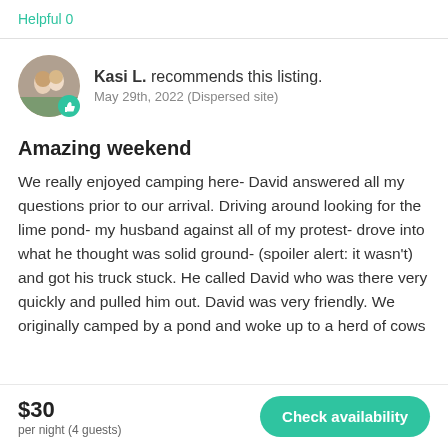Helpful 0
Kasi L. recommends this listing.
May 29th, 2022 (Dispersed site)
Amazing weekend
We really enjoyed camping here- David answered all my questions prior to our arrival. Driving around looking for the lime pond- my husband against all of my protest- drove into what he thought was solid ground- (spoiler alert: it wasn't) and got his truck stuck. He called David who was there very quickly and pulled him out. David was very friendly. We originally camped by a pond and woke up to a herd of cows
$30
per night (4 guests)
Check availability